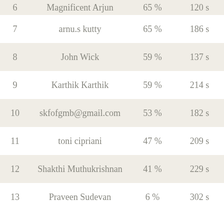| # | Name | Score | Time |
| --- | --- | --- | --- |
| 6 | Magnificent Arjun | 65 % | 120 s |
| 7 | arnu.s kutty | 65 % | 186 s |
| 8 | John Wick | 59 % | 137 s |
| 9 | Karthik Karthik | 59 % | 214 s |
| 10 | skfofgmb@gmail.com | 53 % | 182 s |
| 11 | toni cipriani | 47 % | 209 s |
| 12 | Shakthi Muthukrishnan | 41 % | 229 s |
| 13 | Praveen Sudevan | 6 % | 302 s |